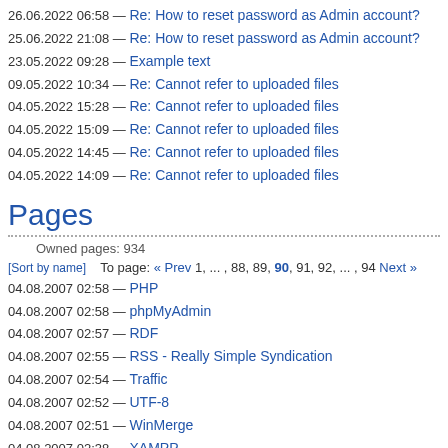26.06.2022 06:58 — Re: How to reset password as Admin account?
25.06.2022 21:08 — Re: How to reset password as Admin account?
23.05.2022 09:28 — Example text
09.05.2022 10:34 — Re: Cannot refer to uploaded files
04.05.2022 15:28 — Re: Cannot refer to uploaded files
04.05.2022 15:09 — Re: Cannot refer to uploaded files
04.05.2022 14:45 — Re: Cannot refer to uploaded files
04.05.2022 14:09 — Re: Cannot refer to uploaded files
Pages
Owned pages: 934
[Sort by name]   To page: « Prev 1, ... , 88, 89, 90, 91, 92, ... , 94 Next »
04.08.2007 02:58 — PHP
04.08.2007 02:58 — phpMyAdmin
04.08.2007 02:57 — RDF
04.08.2007 02:55 — RSS - Really Simple Syndication
04.08.2007 02:54 — Traffic
04.08.2007 02:52 — UTF-8
04.08.2007 02:51 — WinMerge
04.08.2007 02:38 — XAMPP
04.08.2007 02:35 — X
04.08.2007 02:35 — W